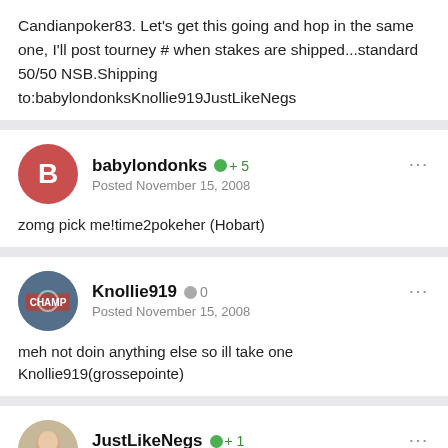Candianpoker83. Let's get this going and hop in the same one, I'll post tourney # when stakes are shipped...standard 50/50 NSB.Shipping to:babylondonksKnollie919JustLikeNegs
babylondonks +5
Posted November 15, 2008

zomg pick me!time2pokeher (Hobart)
Knollie919 0
Posted November 15, 2008

meh not doin anything else so ill take one
Knollie919(grossepointe)
JustLikeNegs +1
Posted November 15, 2008